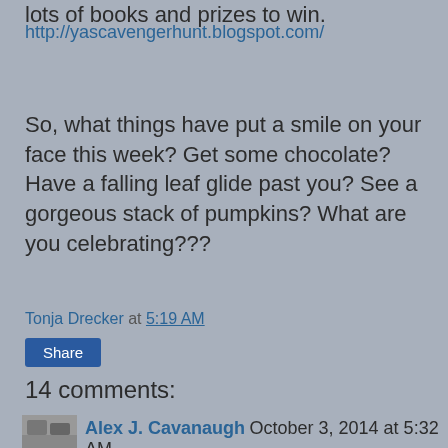lots of books and prizes to win.
http://yascavengerhunt.blogspot.com/
So, what things have put a smile on your face this week? Get some chocolate? Have a falling leaf glide past you? See a gorgeous stack of pumpkins? What are you celebrating???
Tonja Drecker at 5:19 AM
Share
14 comments:
Alex J. Cavanaugh October 3, 2014 at 5:32 AM